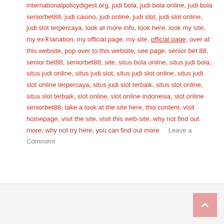internationalpolicydigest.org, judi bola, judi bola online, judi bola seniorbet88, judi casino, judi online, judi slot, judi slot online, judi slot terpercaya, look at more info, look here, look my site, my explanation, my official page, my site, official page, over at this website, pop over to this website, see page, senior bet 88, senior bet88, seniorbet88, site, situs bola online, situs judi bola, situs judi online, situs judi slot, situs judi slot online, situs judi slot online terpercaya, situs judi slot terbaik, situs slot online, situs slot terbaik, slot online, slot online indonesia, slot online seniorbet88, take a look at the site here, this content, visit homepage, visit the site, visit this web-site, why not find out more, why not try here, you can find out more
Leave a Comment